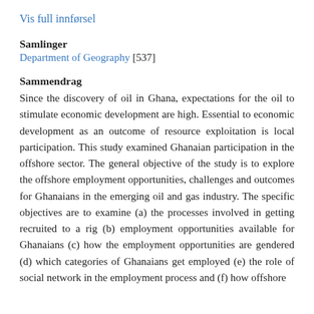Vis full innførsel
Samlinger
Department of Geography [537]
Sammendrag
Since the discovery of oil in Ghana, expectations for the oil to stimulate economic development are high. Essential to economic development as an outcome of resource exploitation is local participation. This study examined Ghanaian participation in the offshore sector. The general objective of the study is to explore the offshore employment opportunities, challenges and outcomes for Ghanaians in the emerging oil and gas industry. The specific objectives are to examine (a) the processes involved in getting recruited to a rig (b) employment opportunities available for Ghanaians (c) how the employment opportunities are gendered (d) which categories of Ghanaians get employed (e) the role of social network in the employment process and (f) how offshore